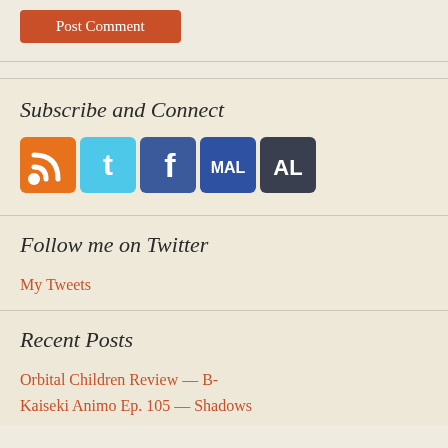[Figure (screenshot): Post Comment button in orange/red color at top]
Subscribe and Connect
[Figure (infographic): Row of social media icons: RSS (orange), Twitter (cyan), Facebook (blue), MAL (dark blue), AnimeList (dark blue/grey)]
Follow me on Twitter
My Tweets
Recent Posts
Orbital Children Review — B-
Kaiseki Animo Ep. 105 — Shadows